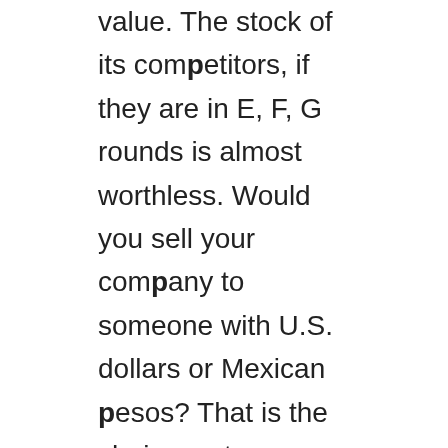value. The stock of its competitors, if they are in E, F, G rounds is almost worthless. Would you sell your company to someone with U.S. dollars or Mexican pesos? That is the choice a strong cap chart forces.
Browser testing, whether on a phone or an iPAD or other device, is in many ways driven by the move to e-commerce. Nothing much happens in the e-commerce world that is not impacted by Amazon (a Browserstack customer, it appears). And who is Amazon driving mad? The major retailers–the brick an mortar chains who inhabit the dying shopping malls across America.